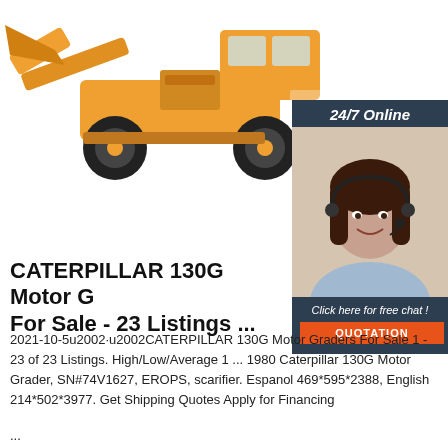[Figure (photo): Orange Caterpillar 130G motor grader / wheel loader construction machine on white background]
[Figure (illustration): Chat widget with '24/7 Online' label, female customer service agent photo, 'Click here for free chat!' text, and orange QUOTATION button]
CATERPILLAR 130G Motor Graders For Sale - 23 Listings ...
2021-10-5u2002·u2002CATERPILLAR 130G Motor Graders For Sale 1 - 23 of 23 Listings. High/Low/Average 1 ... 1980 Caterpillar 130G Motor Grader, SN#74V1627, EROPS, scarifier. Espanol 469*595*2388, English 214*502*3977. Get Shipping Quotes Apply for Financing
...